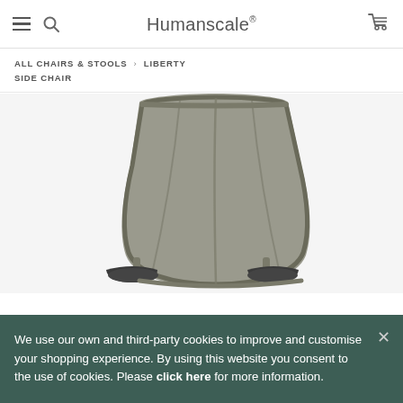Humanscale
ALL CHAIRS & STOOLS > LIBERTY SIDE CHAIR
[Figure (photo): Rear view of a gray mesh office chair (Humanscale Liberty Side Chair) with armrests, shown against a light background.]
We use our own and third-party cookies to improve and customise your shopping experience. By using this website you consent to the use of cookies. Please click here for more information.